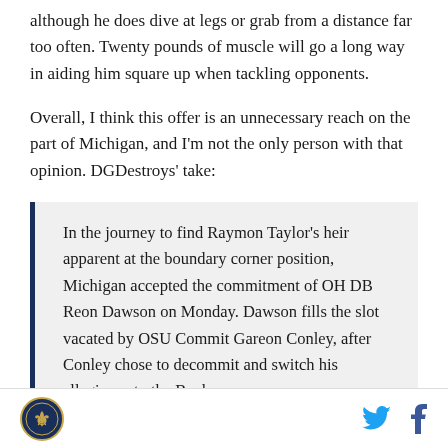although he does dive at legs or grab from a distance far too often. Twenty pounds of muscle will go a long way in aiding him square up when tackling opponents.
Overall, I think this offer is an unnecessary reach on the part of Michigan, and I'm not the only person with that opinion. DGDestroys' take:
In the journey to find Raymon Taylor's heir apparent at the boundary corner position, Michigan accepted the commitment of OH DB Reon Dawson on Monday. Dawson fills the slot vacated by OSU Commit Gareon Conley, after Conley chose to decommit and switch his allegiance to the Buckeyes.